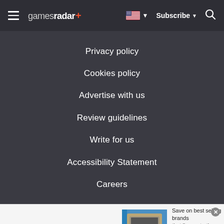gamesradar+ | Subscribe | Search
Privacy policy
Cookies policy
Advertise with us
Review guidelines
Write for us
Accessibility Statement
Careers
[Figure (other): Wayfair advertisement banner: Top Appliances Low Prices. Save on best selling brands that live up to the hype. Shop now button.]